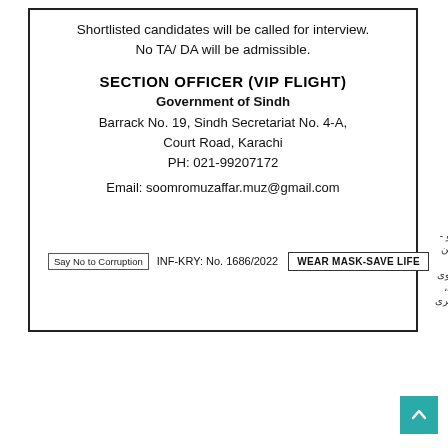Shortlisted candidates will be called for interview.
No TA/ DA will be admissible.
SECTION OFFICER (VIP FLIGHT)
Government of Sindh
Barrack No. 19, Sindh Secretariat No. 4-A,
Court Road, Karachi
PH: 021-99207172
Email: soomromuzaffar.muz@gmail.com
Say No to Corruption
INF-KRY: No. 1686/2022
WEAR MASK-SAVE LIFE